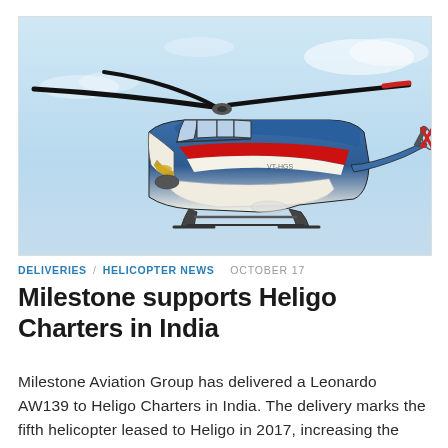[Figure (photo): A blue and white Leonardo AW139 helicopter in flight against a light blue sky, with a red and white livery.]
DELIVERIES / HELICOPTER NEWS  OCTOBER 17
Milestone supports Heligo Charters in India
Milestone Aviation Group has delivered a Leonardo AW139 to Heligo Charters in India. The delivery marks the fifth helicopter leased to Heligo in 2017, increasing the Mumbai-based